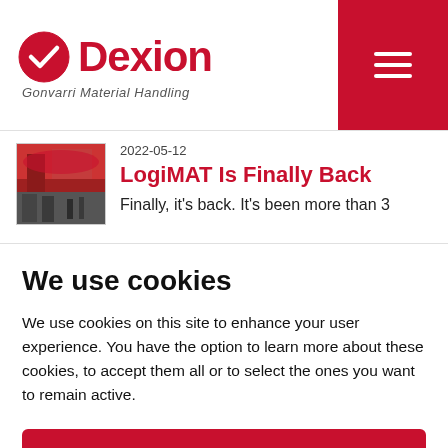Dexion — Gonvarri Material Handling
2022-05-12
LogiMAT Is Finally Back
Finally, it's back. It's been more than 3
We use cookies
We use cookies on this site to enhance your user experience. You have the option to learn more about these cookies, to accept them all or to select the ones you want to remain active.
Accept all
Settings